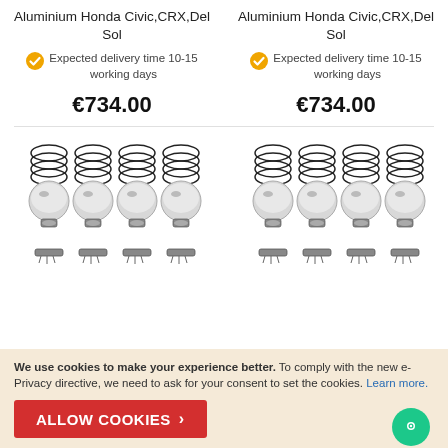Aluminium Honda Civic,CRX,Del Sol
Aluminium Honda Civic,CRX,Del Sol
Expected delivery time 10-15 working days
Expected delivery time 10-15 working days
€734.00
€734.00
[Figure (photo): Four aluminium piston sets with rings and wrist pins for Honda Civic, CRX, Del Sol - left column]
[Figure (photo): Four aluminium piston sets with rings and wrist pins for Honda Civic, CRX, Del Sol - right column]
We use cookies to make your experience better. To comply with the new e-Privacy directive, we need to ask for your consent to set the cookies. Learn more.
ALLOW COOKIES >